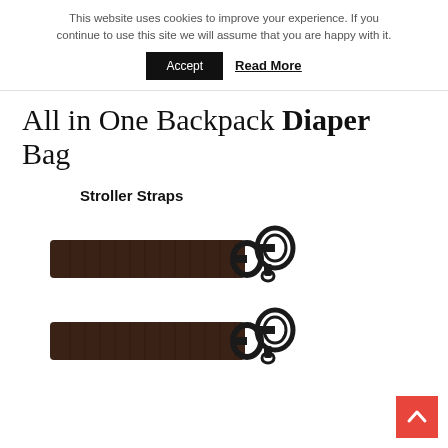This website uses cookies to improve your experience. If you continue to use this site we will assume that you are happy with it.
Accept   Read More
All in One Backpack Diaper Bag
Stroller Straps
[Figure (photo): Two dark brown nylon stroller straps with black metal swivel snap hook clasps, shown stacked one above the other on a white background.]